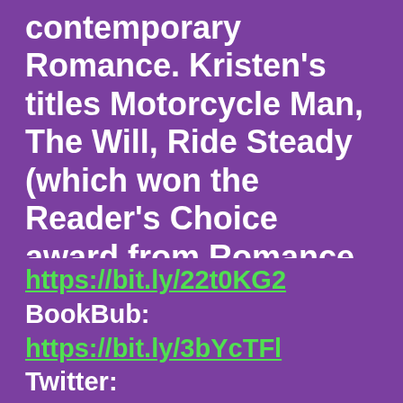contemporary Romance. Kristen's titles Motorcycle Man, The Will, Ride Steady (which won the Reader's Choice award from Romance Reviews) and The Hookup all made the final rounds for Goodreads Choice Awards in the Romance category.
Privacy & Cookies: This site uses cookies. By continuing to use this website, you agree to their use.
To find out more, including how to control cookies, see here: Cookie Policy
Close and accept
https://bit.ly/22t0KG2 BookBub: https://bit.ly/3bYcTFl Twitter: